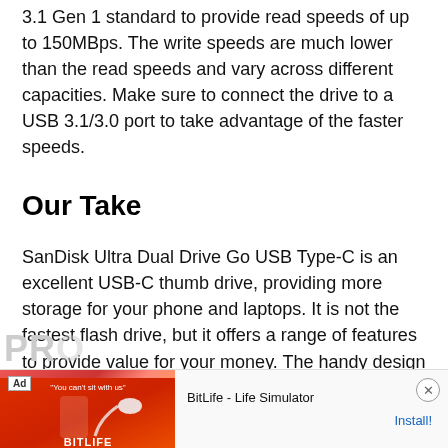3.1 Gen 1 standard to provide read speeds of up to 150MBps. The write speeds are much lower than the read speeds and vary across different capacities. Make sure to connect the drive to a USB 3.1/3.0 port to take advantage of the faster speeds.
Our Take
SanDisk Ultra Dual Drive Go USB Type-C is an excellent USB-C thumb drive, providing more storage for your phone and laptops. It is not the fastest flash drive, but it offers a range of features to provide value for your money. The handy design and automatic file backups make it easy to recommend.
[Figure (other): Advertisement banner for BitLife - Life Simulator app with Install! button and close button]